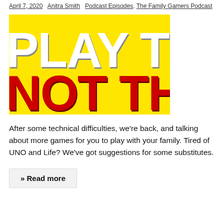April 7, 2020  Anitra Smith  Podcast Episodes, The Family Gamers Podcast
[Figure (illustration): Yellow background image with large white bold text 'PLAY THIS' and large red bold text 'NOT THAT!' below it, styled like a podcast cover art.]
After some technical difficulties, we're back, and talking about more games for you to play with your family. Tired of UNO and Life? We've got suggestions for some substitutes.
» Read more